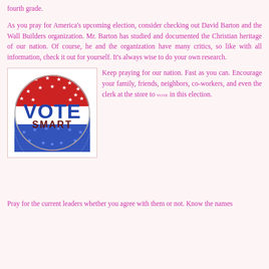fourth grade.
As you pray for America’s upcoming election, consider checking out David Barton and the Wall Builders organization. Mr. Barton has studied and documented the Christian heritage of our nation. Of course, he and the organization have many critics, so like with all information, check it out for yourself. It’s always wise to do your own research.
[Figure (illustration): A circular campaign-style button/badge with red, white, and blue colors featuring stars. The text 'VOTE' in large bold blue letters and 'SMART' in dark red letters below, with a red top section bearing white stars and a blue bottom section bearing blue stars on white.]
Keep praying for our nation. Fast as you can. Encourage your family, friends, neighbors, co-workers, and even the clerk at the store to VOTE in this election.
Pray for the current leaders whether you agree with them or not. Know the names